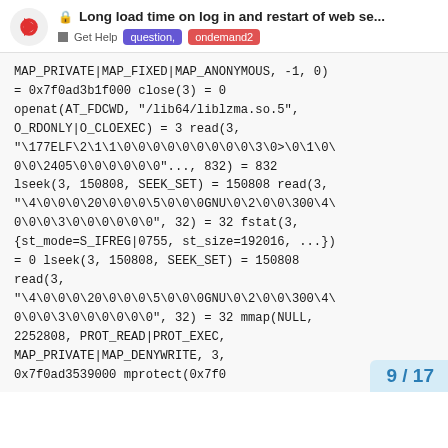Long load time on log in and restart of web se... | Get Help | question, | ondemand2
MAP_PRIVATE|MAP_FIXED|MAP_ANONYMOUS, -1, 0) = 0x7f0ad3b1f000 close(3) = 0 openat(AT_FDCWD, "/lib64/liblzma.so.5", O_RDONLY|O_CLOEXEC) = 3 read(3, "\177ELF\2\1\1\0\0\0\0\0\0\0\0\0\3\0>\0\1\0\0\0\2405\0\0\0\0\0\0"..., 832) = 832 lseek(3, 150808, SEEK_SET) = 150808 read(3, "\4\0\0\0\20\0\0\0\5\0\0\0GNU\0\2\0\0\300\4\0\0\0\3\0\0\0\0\0\0", 32) = 32 fstat(3, {st_mode=S_IFREG|0755, st_size=192016, ...}) = 0 lseek(3, 150808, SEEK_SET) = 150808 read(3, "\4\0\0\0\20\0\0\0\5\0\0\0GNU\0\2\0\0\300\4\0\0\0\3\0\0\0\0\0\0", 32) = 32 mmap(NULL, 2252808, PROT_READ|PROT_EXEC, MAP_PRIVATE|MAP_DENYWRITE, 3, 0x7f0ad3539000 mprotect(0x7f0
9 / 17